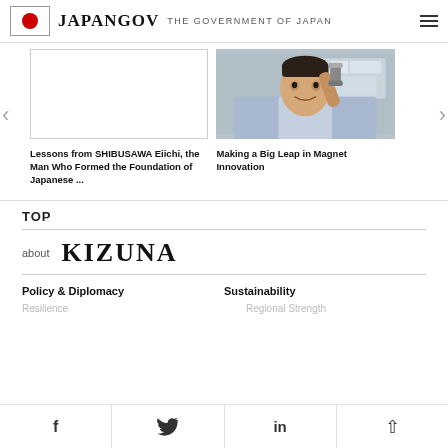JAPANGOV THE GOVERNMENT OF JAPAN
[Figure (photo): Blank white card placeholder for first carousel item]
[Figure (photo): Man in lab coat holding a cylindrical magnet object, smiling]
Lessons from SHIBUSAWA Eiichi, the Man Who Formed the Foundation of Japanese ...
Making a Big Leap in Magnet Innovation
TOP
about KIZUNA
Policy & Diplomacy
Sustainability
Resilience
Regional Strength